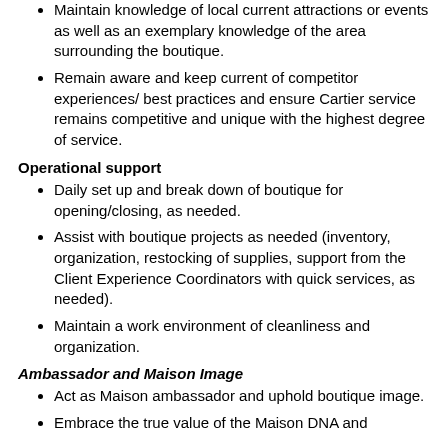Maintain knowledge of local current attractions or events as well as an exemplary knowledge of the area surrounding the boutique.
Remain aware and keep current of competitor experiences/ best practices and ensure Cartier service remains competitive and unique with the highest degree of service.
Operational support
Daily set up and break down of boutique for opening/closing, as needed.
Assist with boutique projects as needed (inventory, organization, restocking of supplies, support from the Client Experience Coordinators with quick services, as needed).
Maintain a work environment of cleanliness and organization.
Ambassador and Maison Image
Act as Maison ambassador and uphold boutique image.
Embrace the true value of the Maison DNA and